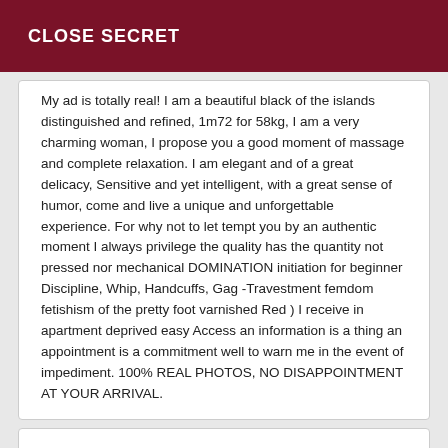CLOSE SECRET
My ad is totally real! I am a beautiful black of the islands distinguished and refined, 1m72 for 58kg, I am a very charming woman, I propose you a good moment of massage and complete relaxation. I am elegant and of a great delicacy, Sensitive and yet intelligent, with a great sense of humor, come and live a unique and unforgettable experience. For why not to let tempt you by an authentic moment I always privilege the quality has the quantity not pressed nor mechanical DOMINATION initiation for beginner Discipline, Whip, Handcuffs, Gag -Travestment femdom fetishism of the pretty foot varnished Red ) I receive in apartment deprived easy Access an information is a thing an appointment is a commitment well to warn me in the event of impediment. 100% REAL PHOTOS, NO DISAPPOINTMENT AT YOUR ARRIVAL.